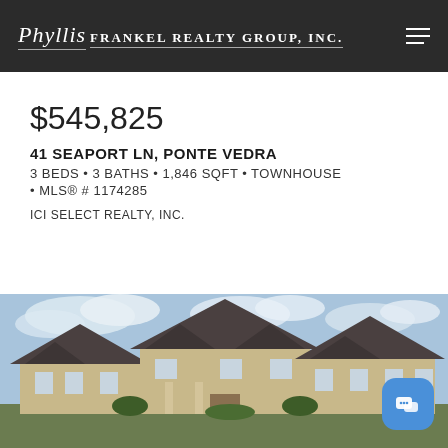Phyllis FRANKEL REALTY GROUP, INC.
$545,825
41 SEAPORT LN, PONTE VEDRA
3 BEDS • 3 BATHS • 1,846 SQFT • TOWNHOUSE • MLS® # 1174285
ICI SELECT REALTY, INC.
[Figure (photo): Exterior photo of a townhouse with peaked roofs, light-colored siding, and a cloudy blue sky background]